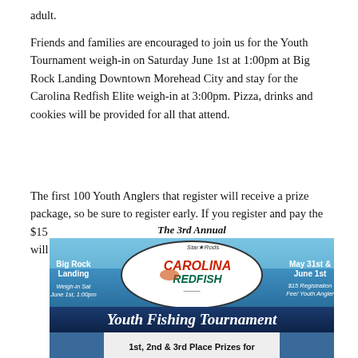adult.
Friends and families are encouraged to join us for the Youth Tournament weigh-in on Saturday June 1st at 1:00pm at Big Rock Landing Downtown Morehead City and stay for the Carolina Redfish Elite weigh-in at 3:00pm. Pizza, drinks and cookies will be provided for all that attend.
The first 100 Youth Anglers that register will receive a prize package, so be sure to register early. If you register and pay the $15 Youth registration fee by May 15th, the registered youth will receive a CTO T-Shirt!
[Figure (infographic): Banner for The 3rd Annual Star-Rods Carolina Redfish Youth Fishing Tournament. Shows Big Rock Landing location, May 31st & June 1st dates, Weigh-in Sat June 1st 1:00pm, $15 Registration Fee/Youth Angler, and 1st, 2nd & 3rd Place Prizes for...]